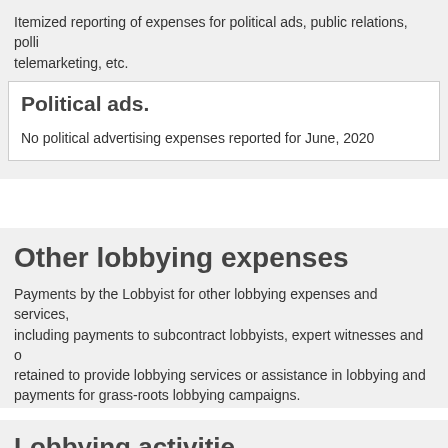Itemized reporting of expenses for political ads, public relations, polling, telemarketing, etc.
Political ads.
No political advertising expenses reported for June, 2020
Other lobbying expenses
Payments by the Lobbyist for other lobbying expenses and services, including payments to subcontract lobbyists, expert witnesses and others retained to provide lobbying services or assistance in lobbying and payments for grass-roots lobbying campaigns.
Detailed expenses.
No other lobbying expenses reported for June, 2020
Lobbying activities